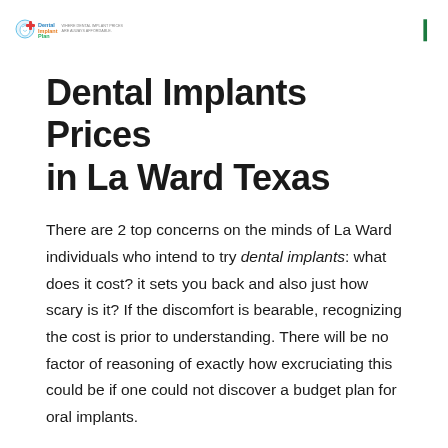DentalImplantPlan logo
Dental Implants Prices in La Ward Texas
There are 2 top concerns on the minds of La Ward individuals who intend to try dental implants: what does it cost? it sets you back and also just how scary is it? If the discomfort is bearable, recognizing the cost is prior to understanding. There will be no factor of reasoning of exactly how excruciating this could be if one could not discover a budget plan for oral implants.
Types of La Ward Dental Implant